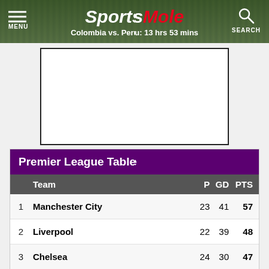SportsMole — Colombia vs. Peru: 13 hrs 53 mins
[Figure (other): Advertisement placeholder box (white rectangle with black border)]
|  | Team | P | GD | PTS |
| --- | --- | --- | --- | --- |
| 1 | Manchester City | 23 | 41 | 57 |
| 2 | Liverpool | 22 | 39 | 48 |
| 3 | Chelsea | 24 | 30 | 47 |
| 4 | Manchester United | 22 | 6 | 38 |
| 5 | West Ham United | 23 | 10 | 37 |
Scroll for more - Tap for full version